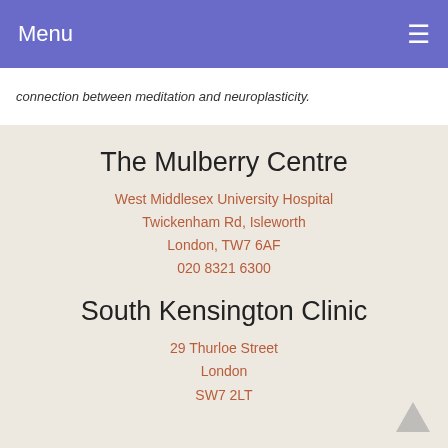Menu ☰
connection between meditation and neuroplasticity.
The Mulberry Centre
West Middlesex University Hospital
Twickenham Rd, Isleworth
London, TW7 6AF
020 8321 6300
South Kensington Clinic
29 Thurloe Street
London
SW7 2LT